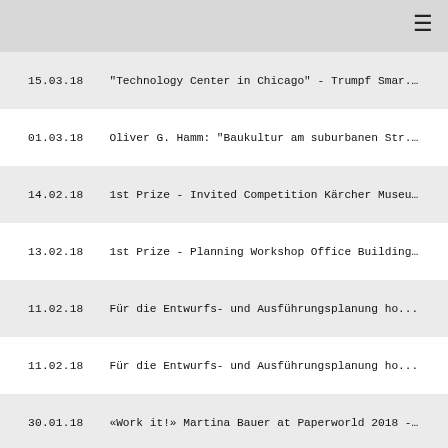≡
15.03.18   "Technology Center in Chicago" - Trumpf Smar...
01.03.18   Oliver G. Hamm: "Baukultur am suburbanen Str...
14.02.18   1st Prize - Invited Competition Kärcher Museu...
13.02.18   1st Prize - Planning Workshop Office Building ...
11.02.18   Für die Entwurfs- und Ausführungsplanung ho...
11.02.18   Für die Entwurfs- und Ausführungsplanung ho...
30.01.18   «Work it!» Martina Bauer at Paperworld 2018 -...
21.12.17   "Neukölln is growing upwards - The Estrel Towe...